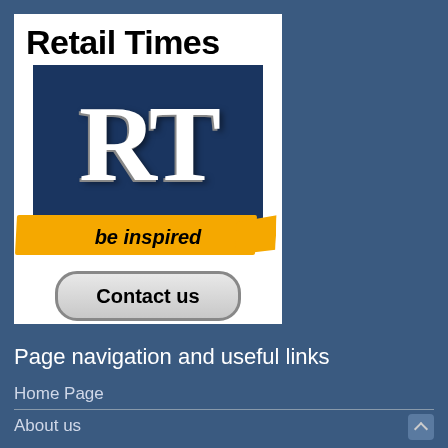[Figure (logo): Retail Times logo with 'RT' letters on dark navy background, 'be inspired' text on yellow paint brush stroke, and 'Contact us' button below]
Page navigation and useful links
Home Page
About us